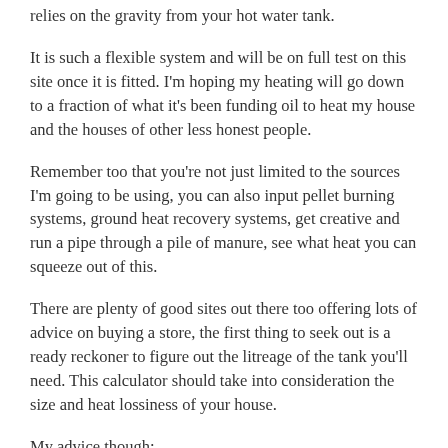relies on the gravity from your hot water tank.
It is such a flexible system and will be on full test on this site once it is fitted. I'm hoping my heating will go down to a fraction of what it's been funding oil to heat my house and the houses of other less honest people.
Remember too that you're not just limited to the sources I'm going to be using, you can also input pellet burning systems, ground heat recovery systems, get creative and run a pipe through a pile of manure, see what heat you can squeeze out of this.
There are plenty of good sites out there too offering lots of advice on buying a store, the first thing to seek out is a ready reckoner to figure out the litreage of the tank you'll need. This calculator should take into consideration the size and heat lossiness of your house.
My advice though:
Hunt around, there are plenty of thermal stores out there and don't